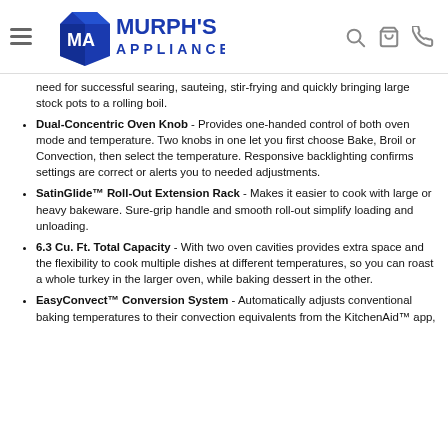Murph's Appliance
need for successful searing, sauteing, stir-frying and quickly bringing large stock pots to a rolling boil.
Dual-Concentric Oven Knob - Provides one-handed control of both oven mode and temperature. Two knobs in one let you first choose Bake, Broil or Convection, then select the temperature. Responsive backlighting confirms settings are correct or alerts you to needed adjustments.
SatinGlide™ Roll-Out Extension Rack - Makes it easier to cook with large or heavy bakeware. Sure-grip handle and smooth roll-out simplify loading and unloading.
6.3 Cu. Ft. Total Capacity - With two oven cavities provides extra space and the flexibility to cook multiple dishes at different temperatures, so you can roast a whole turkey in the larger oven, while baking dessert in the other.
EasyConvect™ Conversion System - Automatically adjusts conventional baking temperatures to their convection equivalents from the KitchenAid™ app,